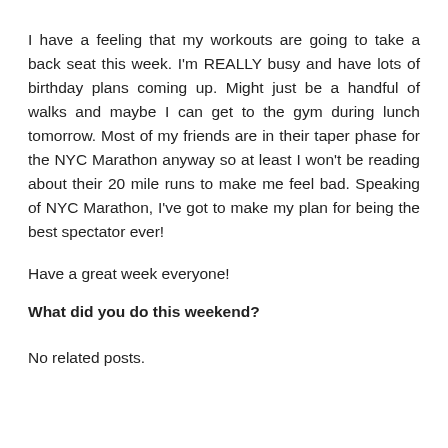I have a feeling that my workouts are going to take a back seat this week. I'm REALLY busy and have lots of birthday plans coming up. Might just be a handful of walks and maybe I can get to the gym during lunch tomorrow. Most of my friends are in their taper phase for the NYC Marathon anyway so at least I won't be reading about their 20 mile runs to make me feel bad. Speaking of NYC Marathon, I've got to make my plan for being the best spectator ever!
Have a great week everyone!
What did you do this weekend?
No related posts.